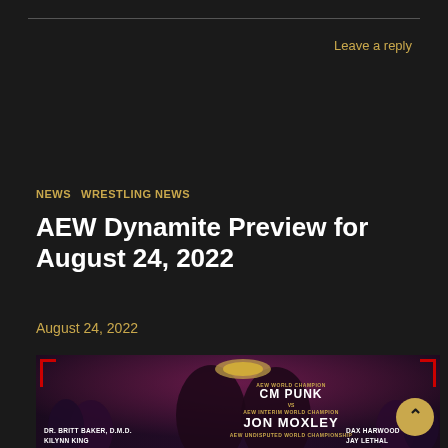Leave a reply
NEWS  WRESTLING NEWS
AEW Dynamite Preview for August 24, 2022
August 24, 2022
[Figure (photo): AEW Dynamite promotional image featuring CM Punk vs Jon Moxley for the AEW Undisputed World Championship, and Dr. Britt Baker D.M.D. & Kilynn King vs Dax Harwood & Jay Lethal]